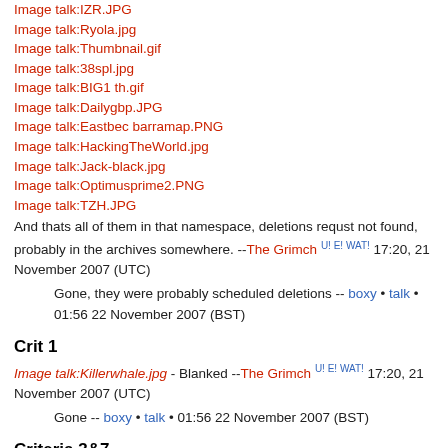Image talk:IZR.JPG
Image talk:Ryola.jpg
Image talk:Thumbnail.gif
Image talk:38spl.jpg
Image talk:BIG1 th.gif
Image talk:Dailygbp.JPG
Image talk:Eastbec barramap.PNG
Image talk:HackingTheWorld.jpg
Image talk:Jack-black.jpg
Image talk:Optimusprime2.PNG
Image talk:TZH.JPG
And thats all of them in that namespace, deletions requst not found, probably in the archives somewhere. --The Grimch U! E! WAT! 17:20, 21 November 2007 (UTC)
Gone, they were probably scheduled deletions -- boxy • talk • 01:56 22 November 2007 (BST)
Crit 1
Image talk:Killerwhale.jpg - Blanked --The Grimch U! E! WAT! 17:20, 21 November 2007 (UTC)
Gone -- boxy • talk • 01:56 22 November 2007 (BST)
Criteria 3&7